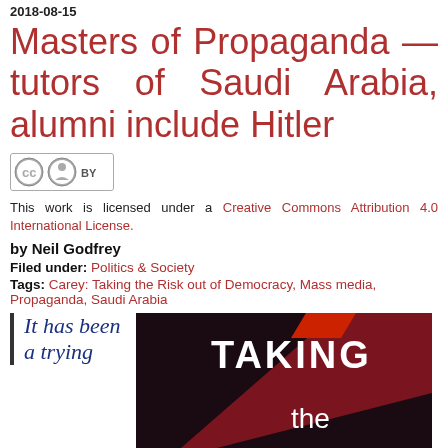2018-08-15
Masters of Propaganda — tutors of Saudi Arabia, alumni include Hitler
[Figure (logo): Creative Commons BY license badge]
This work is licensed under a Creative Commons Attribution 4.0 International License.
by Neil Godfrey
Filed under: Politics & Society
Tags: Carey: Taking the Risk out of Democracy, Mass media, Propaganda, Saudi Arabia
It has been a trying
[Figure (photo): Book cover image showing 'TAKING the' text on a dark red/black background with diagonal design element]